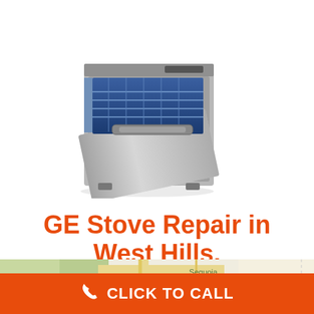[Figure (photo): Stainless steel dishwasher with door open, showing blue interior racks]
GE Stove Repair in West Hills, CA
[Figure (map): Map showing Sequoia National Forest area, used as service area map]
CLICK TO CALL